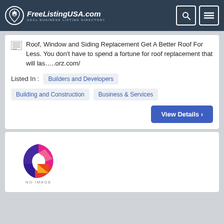FreeListingUSA.com — USAs BUSINESS LISTING DIRECTORY
Roof, Window and Siding Replacement Get A Better Roof For Less. You don't have to spend a fortune for roof replacement that will las…..orz.com/
Listed In : Builders and Developers
Building and Construction   Business & Services
View Details >
[Figure (logo): Colorful G-shaped logo with NO IMAGE label below]